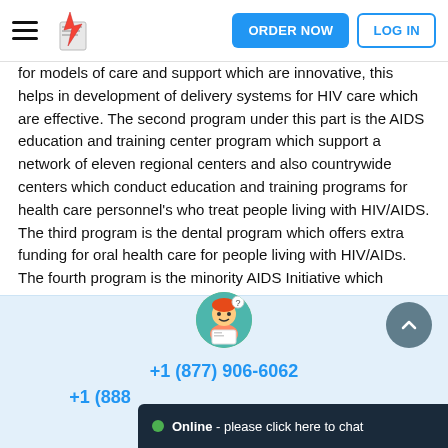ORDER NOW | LOG IN
for models of care and support which are innovative, this helps in development of delivery systems for HIV care which are effective. The second program under this part is the AIDS education and training center program which support a network of eleven regional centers and also countrywide centers which conduct education and training programs for health care personnel's who treat people living with HIV/AIDS. The third program is the dental program which offers extra funding for oral health care for people living with HIV/AIDs. The fourth program is the minority AIDS Initiative which release funds for evaluating and addressing the inconsistent impact of the infection on African and other minorities.
[Figure (illustration): Chat support avatar - cartoon character of a person reading/writing]
+1 (877) 906-6062
+1 (888
Online - please click here to chat